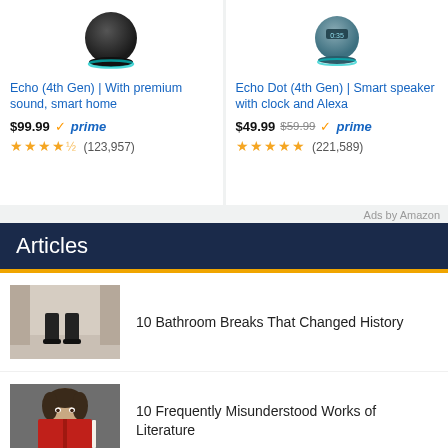[Figure (photo): Echo 4th Gen smart speaker product image]
Echo (4th Gen) | With premium sound, smart home
$99.99 prime ★★★★½ (123,957)
[Figure (photo): Echo Dot 4th Gen smart speaker with clock product image]
Echo Dot (4th Gen) | Smart speaker with clock and Alexa
$49.99 $59.99 prime ★★★★★ (221,589)
Ads by Amazon
Articles
[Figure (photo): Bathroom feet/boots thumbnail image]
10 Bathroom Breaks That Changed History
[Figure (photo): Person reading red book thumbnail image]
10 Frequently Misunderstood Works of Literature